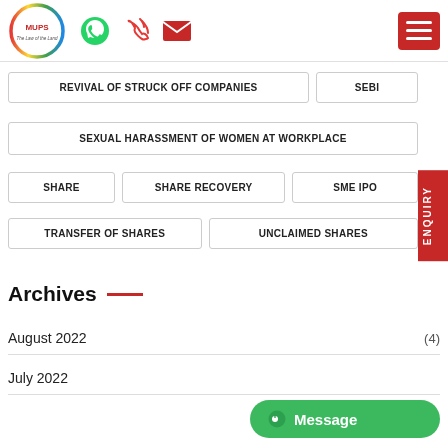MUPS - The Law of the Land
REVIVAL OF STRUCK OFF COMPANIES
SEBI
SEXUAL HARASSMENT OF WOMEN AT WORKPLACE
SHARE
SHARE RECOVERY
SME IPO
TRANSFER OF SHARES
UNCLAIMED SHARES
Archives
August 2022 (4)
July 2022